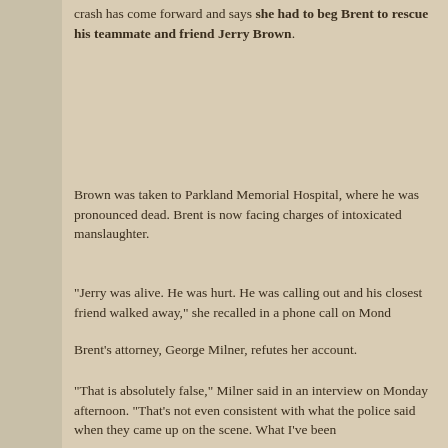crash has come forward and says she had to beg Brent to rescue his teammate and friend Jerry Brown.
Brown was taken to Parkland Memorial Hospital, where he was pronounced dead. Brent is now facing charges of intoxicated manslaughter.
"Jerry was alive. He was hurt. He was calling out and his closest friend walked away," she recalled in a phone call on Monday.
Brent's attorney, George Milner, refutes her account.
"That is absolutely false," Milner said in an interview on Monday afternoon. "That's not even consistent with what the police said when they came up on the scene. What I've been told is that Jerry Brown was never conscious after the accident. She's a nut and she better be careful with this one."
The witness, who lives in Irving, was driving home from her birthday party on early Saturday morning when she saw Brent's 2007 Mercedes upside-down and starting to catch fire near State Highway 114 and Loop 12. She pulled over her and got out to help Brent, a man who she didn't recognize. And what she saw haunts her, she said.